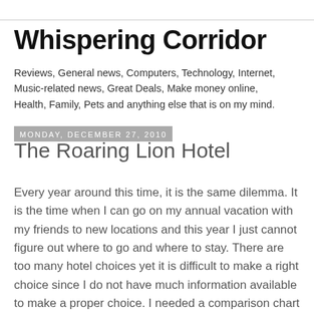Whispering Corridor
Reviews, General news, Computers, Technology, Internet, Music-related news, Great Deals, Make money online, Health, Family, Pets and anything else that is on my mind.
Monday, December 27, 2010
The Roaring Lion Hotel
Every year around this time, it is the same dilemma. It is the time when I can go on my annual vacation with my friends to new locations and this year I just cannot figure out where to go and where to stay. There are too many hotel choices yet it is difficult to make a right choice since I do not have much information available to make a proper choice. I needed a comparison chart so that I can compare hotel prices and choose the one which one fits my budget after I have decided my destination. The main factor in deciding one hotel over another is that the hotels near the venue will get